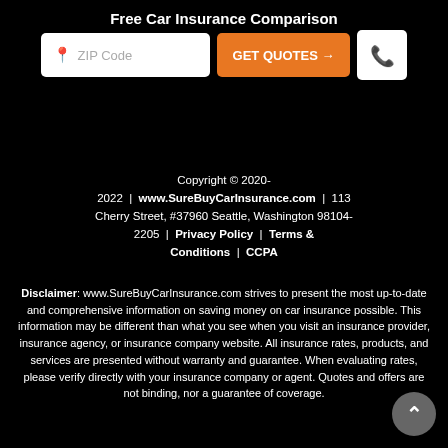Free Car Insurance Comparison
[Figure (screenshot): ZIP Code input box, orange GET QUOTES button, and phone icon button]
Copyright © 2020-2022 | www.SureBuyCarInsurance.com | 113 Cherry Street, #37960 Seattle, Washington 98104-2205 | Privacy Policy | Terms & Conditions | CCPA
Disclaimer: www.SureBuyCarInsurance.com strives to present the most up-to-date and comprehensive information on saving money on car insurance possible. This information may be different than what you see when you visit an insurance provider, insurance agency, or insurance company website. All insurance rates, products, and services are presented without warranty and guarantee. When evaluating rates, please verify directly with your insurance company or agent. Quotes and offers are not binding, nor a guarantee of coverage.